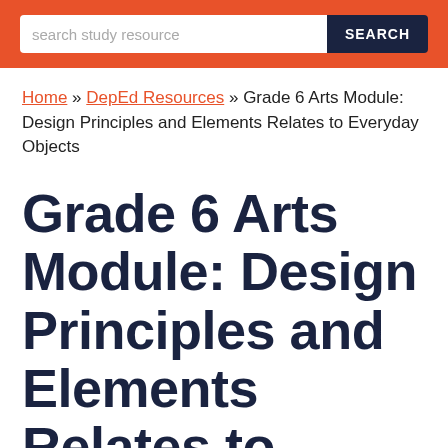search study resource | SEARCH
Home » DepEd Resources » Grade 6 Arts Module: Design Principles and Elements Relates to Everyday Objects
Grade 6 Arts Module: Design Principles and Elements Relates to Everyday Objects